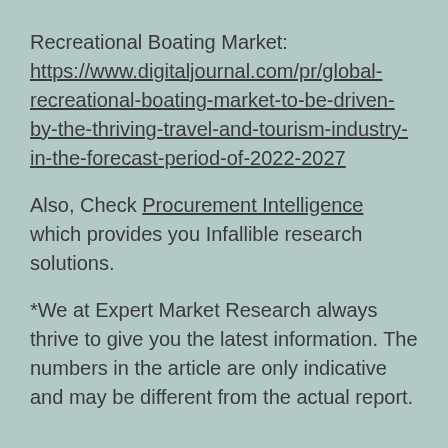Recreational Boating Market: https://www.digitaljournal.com/pr/global-recreational-boating-market-to-be-driven-by-the-thriving-travel-and-tourism-industry-in-the-forecast-period-of-2022-2027
Also, Check Procurement Intelligence which provides you Infallible research solutions.
*We at Expert Market Research always thrive to give you the latest information. The numbers in the article are only indicative and may be different from the actual report.